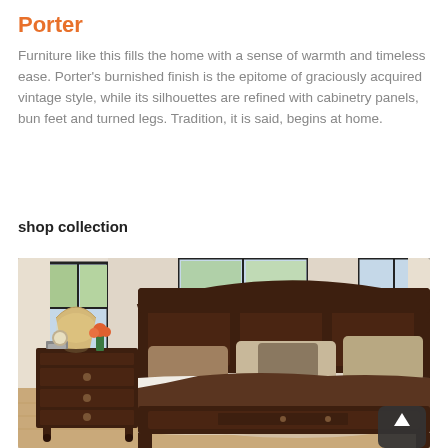Porter
Furniture like this fills the home with a sense of warmth and timeless ease. Porter's burnished finish is the epitome of graciously acquired vintage style, while its silhouettes are refined with cabinetry panels, bun feet and turned legs. Tradition, it is said, begins at home.
shop collection
[Figure (photo): Bedroom scene featuring dark brown wood Porter collection furniture including a sleigh bed with storage footboard, nightstand with drawers, lamp, and decorative items. Room has white walls, large windows, and a light hardwood floor with rug.]